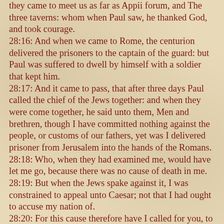they came to meet us as far as Appii forum, and The three taverns: whom when Paul saw, he thanked God, and took courage. 28:16: And when we came to Rome, the centurion delivered the prisoners to the captain of the guard: but Paul was suffered to dwell by himself with a soldier that kept him. 28:17: And it came to pass, that after three days Paul called the chief of the Jews together: and when they were come together, he said unto them, Men and brethren, though I have committed nothing against the people, or customs of our fathers, yet was I delivered prisoner from Jerusalem into the hands of the Romans. 28:18: Who, when they had examined me, would have let me go, because there was no cause of death in me. 28:19: But when the Jews spake against it, I was constrained to appeal unto Caesar; not that I had ought to accuse my nation of. 28:20: For this cause therefore have I called for you, to see you, and to speak with you: because that for the hope of Israel I am bound with this chain. 28:21: And they said unto him, We neither received letters